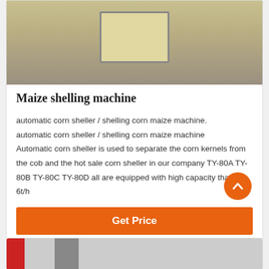[Figure (photo): Photo of a maize shelling machine, showing a pale yellow/cream colored metal device on a gray floor.]
Maize shelling machine
automatic corn sheller / shelling corn maize machine. automatic corn sheller / shelling corn maize machine Automatic corn sheller is used to separate the corn kernels from the cob and the hot sale corn sheller in our company TY-80A TY-80B TY-80C TY-80D all are equipped with high capacity that is 4-6t/h
Get Price
[Figure (photo): Photo of industrial machinery with red and metallic components, partially visible at the bottom of the page.]